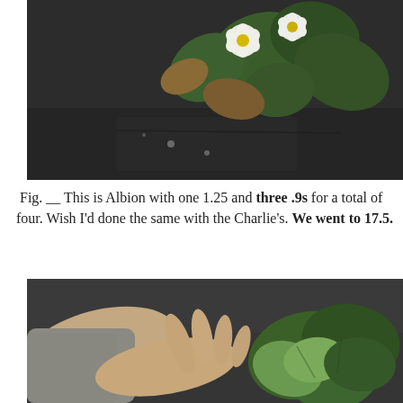[Figure (photo): Overhead view of a strawberry plant with white flowers and green leaves on a dark surface]
Fig. __ This is Albion with one 1.25 and three .9s for a total of four. Wish I'd done the same with the Charlie's. We went to 17.5.
[Figure (photo): A person's hand holding or touching green strawberry plant leaves on a dark surface]